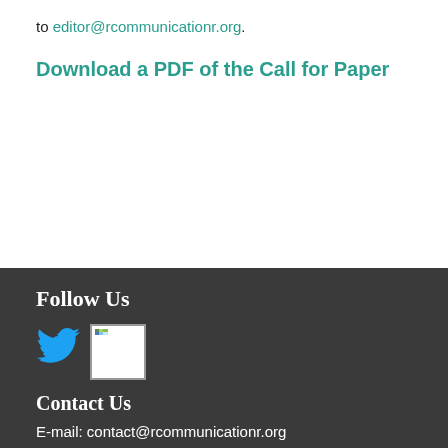to editor@rcommunicationr.org.
Download a PDF of the Call for Paper
Follow Us
[Figure (logo): Twitter bird logo in blue]
[Figure (logo): LinkedIn logo image (broken/loading)]
Contact Us
E-mail: contact@rcommunicationr.org